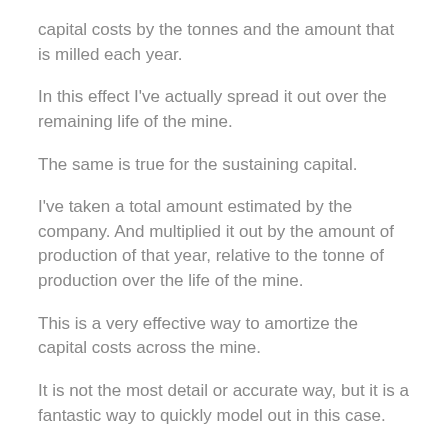capital costs by the tonnes and the amount that is milled each year.
In this effect I've actually spread it out over the remaining life of the mine.
The same is true for the sustaining capital.
I've taken a total amount estimated by the company. And multiplied it out by the amount of production of that year, relative to the tonne of production over the life of the mine.
This is a very effective way to amortize the capital costs across the mine.
It is not the most detail or accurate way, but it is a fantastic way to quickly model out in this case.